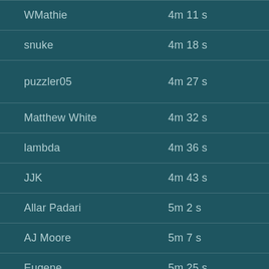| Name | Time | Notes |
| --- | --- | --- |
| WMathie | 4m 11 s |  |
| snuke | 4m 18 s |  |
| puzzler05 | 4m 27 s | 1 error |
| Matthew White | 4m 32 s |  |
| lambda | 4m 36 s |  |
| JJK | 4m 43 s |  |
| Allar Padari | 5m 2 s |  |
| AJ Moore | 5m 7 s |  |
| Eugene | 5m 25 s |  |